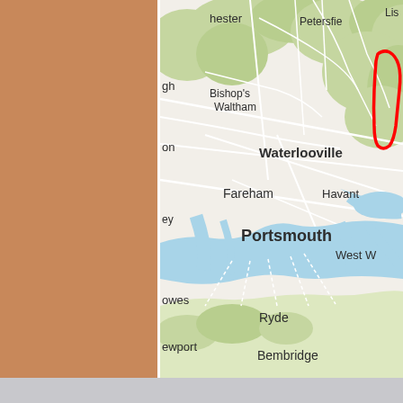[Figure (map): Google Maps style map showing the Portsmouth and surrounding area in southern England, including place names: chester, Petersfield, Bishop's Waltham, gh, Waterlooville, on, Fareham, Havant, Portsmouth, ey, West W, owes, Ryde, ewport, Bembridge. A red outlined region is visible in the upper right. The map shows green hills/terrain, blue water (Solent), road networks, and the Isle of Wight in the lower portion.]